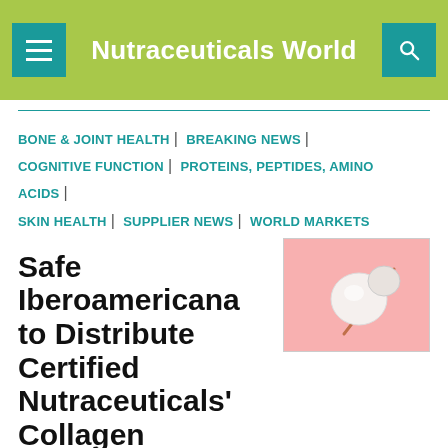Nutraceuticals World
BONE & JOINT HEALTH | BREAKING NEWS | COGNITIVE FUNCTION | PROTEINS, PEPTIDES, AMINO ACIDS | SKIN HEALTH | SUPPLIER NEWS | WORLD MARKETS
[Figure (photo): Photo of collagen supplement capsules/pearls on a pink background]
Safe Iberoamericana to Distribute Certified Nutraceuticals' Collagen Products in Mexico
The exclusive sales and marketing distribution agreement will cover all five of its branded collagen products.